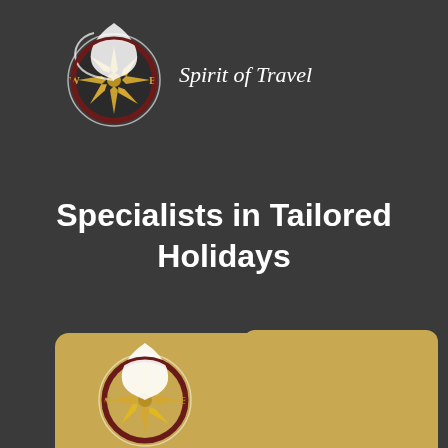[Figure (logo): Spirit of Travel compass logo with gold star compass rose, dark red circle border, white bird/swirl swoosh, with W and E directional letters in gold]
Spirit of Travel
Specialists in Tailored Holidays
[Figure (other): Phone button with telephone handset icon and label 'Phone' on gold/tan rounded rectangle background]
[Figure (logo): Spirit of Travel compass logo repeated on gold/tan card background at bottom of page, partially visible]